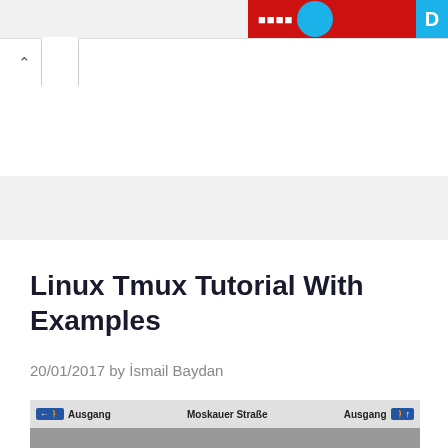[Figure (screenshot): Partial advertisement banner with red background, blue circle, and blue 'D' letter on the right side, cropped at top of page]
Read more
Linux Tmux Tutorial With Examples
20/01/2017 by İsmail Baydan
[Figure (photo): Photo of a subway station showing escalators and signs reading 'Ausgang', 'Moskauer Straße', 'Ausgang' with directional arrows]